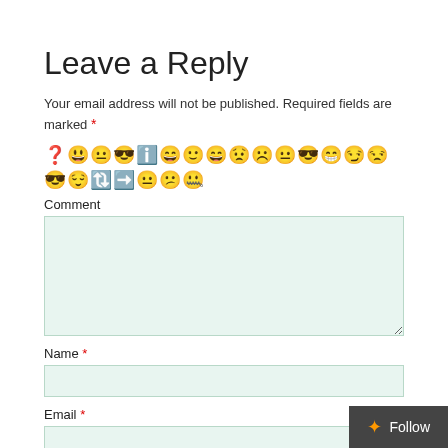Leave a Reply
Your email address will not be published. Required fields are marked *
[Figure (infographic): A row of emoji/smiley face icons]
Comment
[Figure (screenshot): Comment textarea input field with light green background]
Name *
[Figure (screenshot): Name text input field with light green background]
Email *
[Figure (screenshot): Email text input field with light green background (partially visible)]
Follow